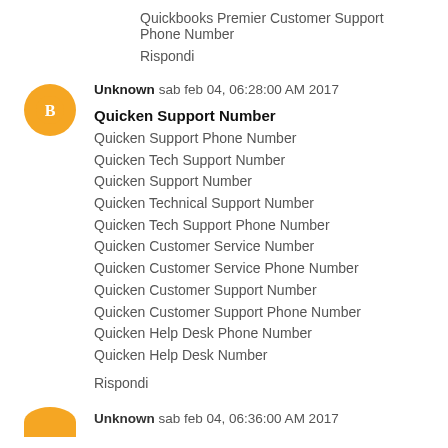Quickbooks Premier Customer Support Phone Number
Rispondi
Unknown  sab feb 04, 06:28:00 AM 2017
Quicken Support Number
Quicken Support Phone Number
Quicken Tech Support Number
Quicken Support Number
Quicken Technical Support Number
Quicken Tech Support Phone Number
Quicken Customer Service Number
Quicken Customer Service Phone Number
Quicken Customer Support Number
Quicken Customer Support Phone Number
Quicken Help Desk Phone Number
Quicken Help Desk Number
Rispondi
Unknown  sab feb 04, 06:36:00 AM 2017